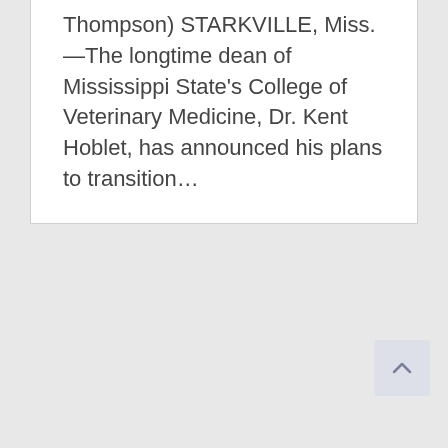Thompson) STARKVILLE, Miss.—The longtime dean of Mississippi State's College of Veterinary Medicine, Dr. Kent Hoblet, has announced his plans to transition…
[Figure (other): Scroll-to-top button with upward chevron arrow icon, light blue-gray background]